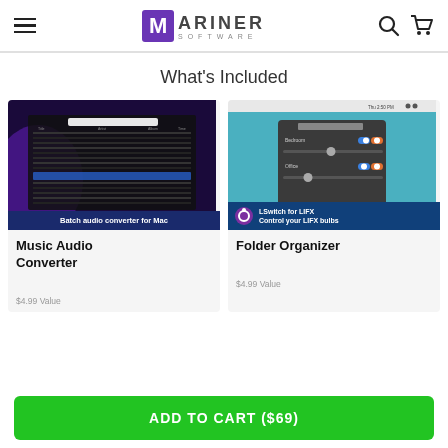Mariner Software — navigation header with hamburger menu, logo, search and cart icons
What's Included
[Figure (screenshot): Screenshot of Music Audio Converter app showing a dark-themed batch audio converter interface with a list of songs and the label 'Batch audio converter for Mac']
Music Audio Converter
$4.99 Value
[Figure (screenshot): Screenshot of LSwitch for LIFX app showing a macOS settings panel with toggle controls for Bedroom and Office lighting, with label 'LSwitch for LIFX — Control your LIFX bulbs']
Folder Organizer
$4.99 Value
ADD TO CART ($69)